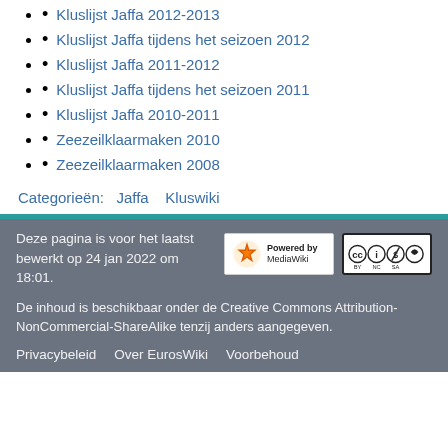Kluslijst Jaffa 2012-2013
Kluslijst Jaffa tijdens het seizoen 2012
Kluslijst Jaffa 2011-2012
Kluslijst Jaffa tijdens het seizoen 2011
Kluslijst Jaffa 2010-2011
Zeezeilklaarmaken 2010
Zeezeilklaarmaken 2008
Categorieën:  Jaffa    Kluswiki
Deze pagina is voor het laatst bewerkt op 24 jan 2022 om 18:01.

De inhoud is beschikbaar onder de Creative Commons Attribution-NonCommercial-ShareAlike tenzij anders aangegeven.

Privacybeleid    Over EurosWiki    Voorbehoud